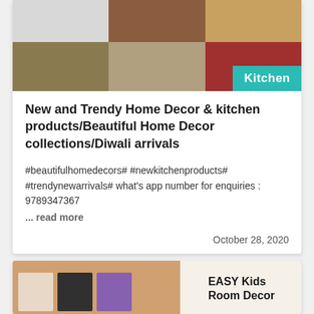[Figure (photo): Collage of home decor and kitchen product images arranged in a 3x2 grid, with a teal 'Kitchen' badge overlay in the bottom right corner]
New and Trendy Home Decor & kitchen products/Beautiful Home Decor collections/Diwali arrivals
#beautifulhomedecors# #newkitchenproducts# #trendynewarrivals# what's app number for enquiries : 9789347367
... read more
October 28, 2020
[Figure (photo): Partial view of a second article card with a peach/salmon background showing kids room decor images on the left and white panel with bold text 'EASY Kids Room Decor' on the right]